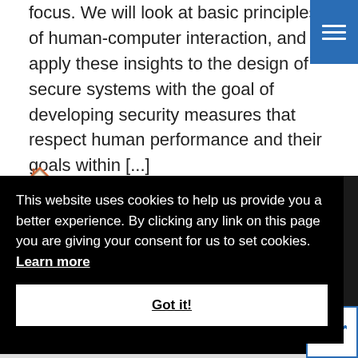focus. We will look at basic principles of human-computer interaction, and apply these insights to the design of secure systems with the goal of developing security measures that respect human performance and their goals within [...]
[Figure (other): Blue hamburger menu button in top right corner]
This website uses cookies to help us provide you a better experience. By clicking any link on this page you are giving your consent for us to set cookies. Learn more
Got it!